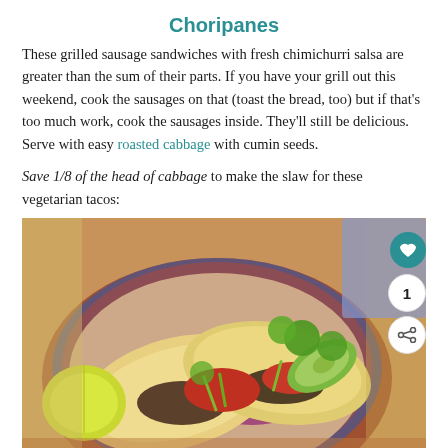Choripanes
These grilled sausage sandwiches with fresh chimichurri salsa are greater than the sum of their parts. If you have your grill out this weekend, cook the sausages on that (toast the bread, too) but if that's too much work, cook the sausages inside. They'll still be delicious. Serve with easy roasted cabbage with cumin seeds.
Save 1/8 of the head of cabbage to make the slaw for these vegetarian tacos:
[Figure (photo): Overhead photo of two vegetarian tacos in a colorful ceramic bowl, topped with red cabbage slaw, salsa roja, sliced avocado, cilantro, and green onions, with a lime wedge on the side. Side buttons show a teal heart icon with count 1, and a share icon.]